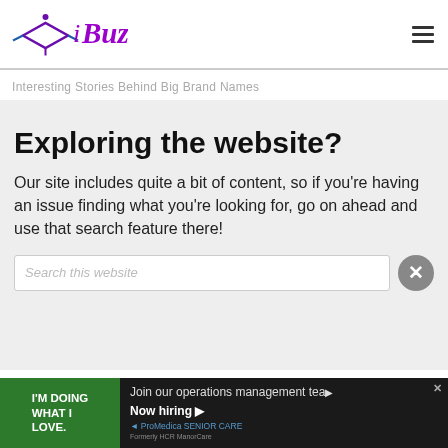iBuzzle
Interesting Stories Behind Big Brand Names
Exploring the website?
Our site includes quite a bit of content, so if you're having an issue finding what you're looking for, go on ahead and use that search feature there!
Search this website
[Figure (infographic): Advertisement banner: green left panel with white bold text 'I'M DOING WHAT I LOVE.' and dark right panel with text 'Join our operations management team. Now hiring ▶' and ProMedica Senior Care logo]